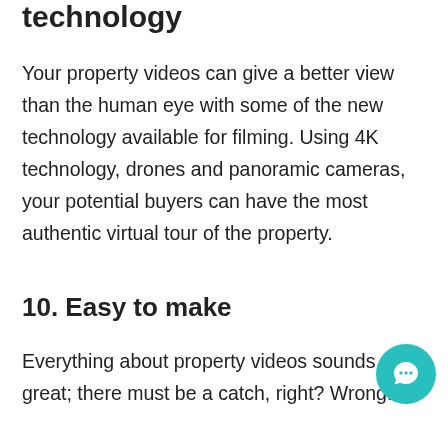technology
Your property videos can give a better view than the human eye with some of the new technology available for filming. Using 4K technology, drones and panoramic cameras, your potential buyers can have the most authentic virtual tour of the property.
10. Easy to make
Everything about property videos sounds so great; there must be a catch, right? Wrong.